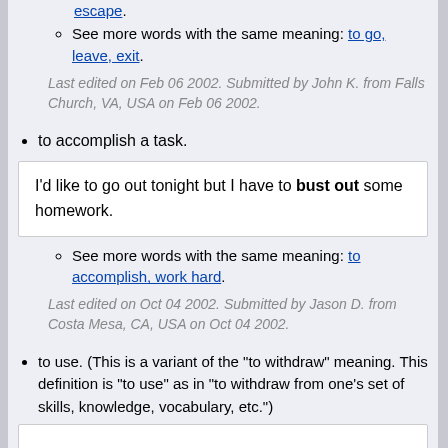escape.
See more words with the same meaning: to go, leave, exit.
Last edited on Feb 06 2002. Submitted by John K. from Falls Church, VA, USA on Feb 06 2002.
to accomplish a task.
I'd like to go out tonight but I have to bust out some homework.
See more words with the same meaning: to accomplish, work hard.
Last edited on Oct 04 2002. Submitted by Jason D. from Costa Mesa, CA, USA on Oct 04 2002.
to use. (This is a variant of the "to withdraw" meaning. This definition is "to use" as in "to withdraw from one's set of skills, knowledge, vocabulary, etc.")